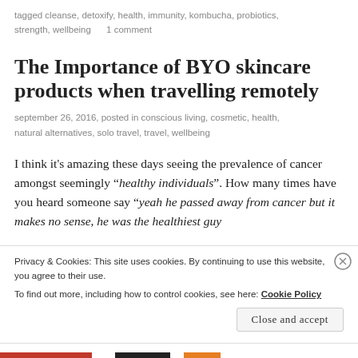tagged cleanse, detoxify, health, immunity, kombucha, probiotics, strength, wellbeing      1 comment
The Importance of BYO skincare products when travelling remotely
september 26, 2016, posted in conscious living, cosmetic, health, natural alternatives, solo travel, travel, wellbeing
I think it's amazing these days seeing the prevalence of cancer amongst seemingly “healthy individuals”. How many times have you heard someone say “yeah he passed away from cancer but it makes no sense, he was the healthiest guy
Privacy & Cookies: This site uses cookies. By continuing to use this website, you agree to their use.
To find out more, including how to control cookies, see here: Cookie Policy
Close and accept